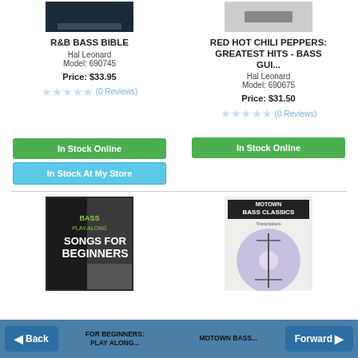[Figure (photo): Book cover thumbnail for R&B Bass Bible, dark background]
[Figure (photo): Book cover thumbnail for Red Hot Chili Peppers Greatest Hits Bass, light grey background]
R&B BASS BIBLE
Hal Leonard
Model: 690745
Price: $33.95
(0 Reviews)
RED HOT CHILI PEPPERS: GREATEST HITS - BASS GUI...
Hal Leonard
Model: 690675
Price: $31.50
(0 Reviews)
In Stock Online
In Stock At My Store
In Stock Online
[Figure (photo): Book cover: Bass Play-Along Songs for Beginners]
[Figure (photo): Book cover: Motown Bass Classics]
FOR BEGINNERS: PLAY ALONG...
MOTOWN BASS...
◀ Back   FOR BEGINNERS: PLAY ALONG...   MOTOWN BASS...   Forward ▶